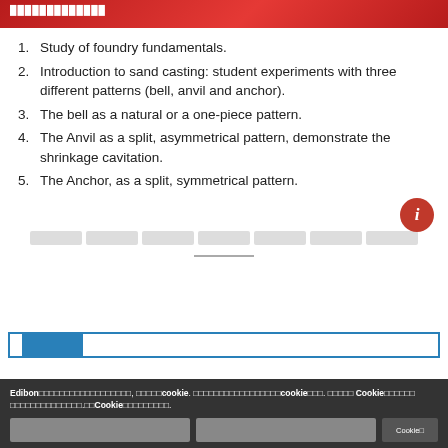█████████████
Study of foundry fundamentals.
Introduction to sand casting: student experiments with three different patterns (bell, anvil and anchor).
The bell as a natural or a one-piece pattern.
The Anvil as a split, asymmetrical pattern, demonstrate the shrinkage cavitation.
The Anchor, as a split, symmetrical pattern.
[Figure (other): Placeholder area with gray boxes and a short horizontal line below them]
[Figure (other): Navigation bar with white, blue and white sections bordered in blue]
Edibon□□□□□□□□□□□□□□□, □□□□□cookie. □□□□□□□□□□□□□□□□□cookie□□□. □□□□□ Cookie□□□□□□□□□□□□□□□□□.□□Cookie□□□□□□□□.